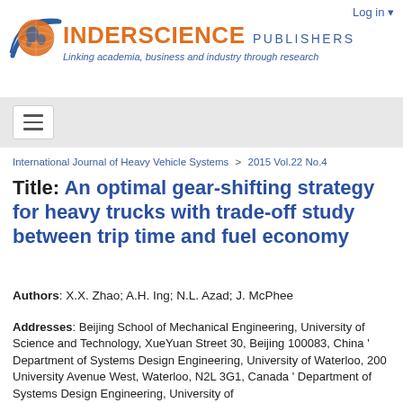[Figure (logo): Inderscience Publishers logo with globe icon, orange and blue text reading INDERSCIENCE PUBLISHERS, tagline: Linking academia, business and industry through research]
Log in
International Journal of Heavy Vehicle Systems > 2015 Vol.22 No.4
Title: An optimal gear-shifting strategy for heavy trucks with trade-off study between trip time and fuel economy
Authors: X.X. Zhao; A.H. Ing; N.L. Azad; J. McPhee
Addresses: Beijing School of Mechanical Engineering, University of Science and Technology, XueYuan Street 30, Beijing 100083, China ' Department of Systems Design Engineering, University of Waterloo, 200 University Avenue West, Waterloo, N2L 3G1, Canada ' Department of Systems Design Engineering, University of